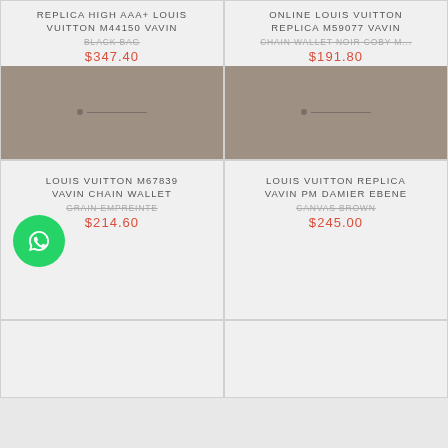REPLICA HIGH AAA+ LOUIS VUITTON M44150 VAVIN BLACK BAG
$347.40
[Figure (photo): Product image placeholder - tan/taupe color block for Louis Vuitton bag]
ONLINE LOUIS VUITTON REPLICA M59077 VAVIN CHAIN WALLET NOIR COBY
$191.80
[Figure (photo): Product image placeholder - tan/taupe color block for Louis Vuitton bag]
LOUIS VUITTON M67839 VAVIN CHAIN WALLET GRAIN EMPREINTE
$214.60
LOUIS VUITTON REPLICA VAVIN PM DAMIER EBENE CANVAS BROWN
$245.00